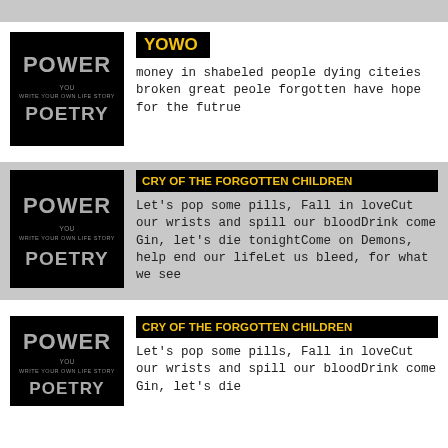[Figure (illustration): Power Poetry logo on black background with text POWER and WRITE YOUR OWN LIFE STORY POETRY]
YOWO
money in shabeled people dying citeies broken great peole forgotten have hope for the futrue
[Figure (illustration): Power Poetry logo on black background with text POWER and WRITE YOUR OWN LIFE STORY POETRY]
CRY OF THE FORGOTTEN CHILDREN
Let's pop some pills, Fall in loveCut our wrists and spill our bloodDrink come Gin, let's die tonightCome on Demons, help end our lifeLet us bleed, for what we see
[Figure (illustration): Power Poetry logo on black background with text POWER and WRITE YOUR OWN LIFE STORY POETRY]
CRY OF THE FORGOTTEN CHILDREN
Let's pop some pills, Fall in loveCut our wrists and spill our bloodDrink come Gin, let's die